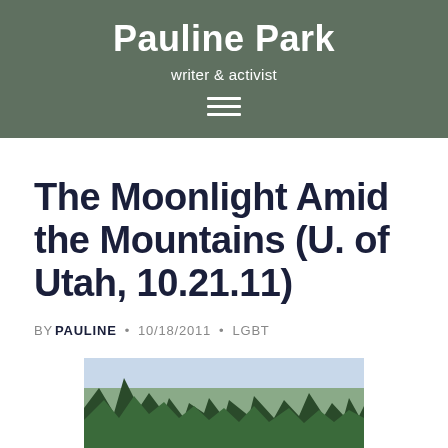Pauline Park
writer & activist
The Moonlight Amid the Mountains (U. of Utah, 10.21.11)
BY PAULINE • 10/18/2011 • LGBT
[Figure (photo): Photograph of pine/conifer trees against a sky background, taken outdoors in a mountainous setting]